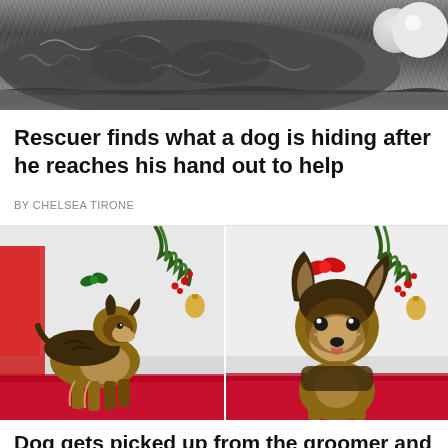[Figure (photo): Top photo showing a matted, dirty gray dog lying on ground, barely recognizable as a dog, with a white ball visible in the upper right corner.]
Rescuer finds what a dog is hiding after he reaches his hand out to help
BY CHELSEA TIRONE
[Figure (photo): Two side-by-side photos of a small Yorkshire Terrier after grooming. Left: side profile showing the dog standing with a green bow on its head and Christmas decorations in background. Right: front-facing portrait of the same dog with a red bow, alert ears, and Christmas decorations in background. Both photos have a red blanket on the floor.]
Dog gets picked up from the groomer and